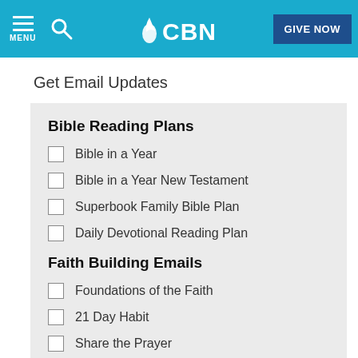CBN — MENU | Search | GIVE NOW
Get Email Updates
Bible Reading Plans
Bible in a Year
Bible in a Year New Testament
Superbook Family Bible Plan
Daily Devotional Reading Plan
Faith Building Emails
Foundations of the Faith
21 Day Habit
Share the Prayer
40 Days of personal revival